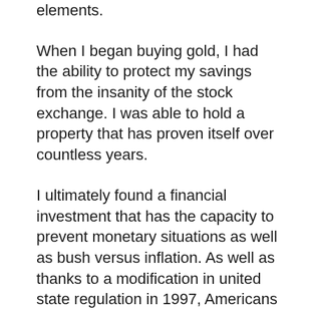elements.
When I began buying gold, I had the ability to protect my savings from the insanity of the stock exchange. I was able to hold a property that has proven itself over countless years.
I ultimately found a financial investment that has the capacity to prevent monetary situations as well as bush versus inflation. As well as thanks to a modification in united state regulation in 1997, Americans are currently able to open up precious metals Individual retirement accounts.
One company specifically that offers silver and gold IRAs is Goldco.